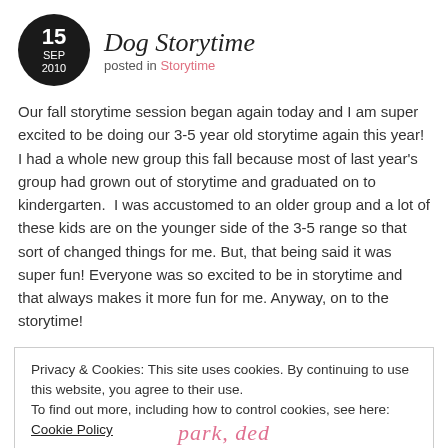Dog Storytime
posted in Storytime
Our fall storytime session began again today and I am super excited to be doing our 3-5 year old storytime again this year! I had a whole new group this fall because most of last year's group had grown out of storytime and graduated on to kindergarten.  I was accustomed to an older group and a lot of these kids are on the younger side of the 3-5 range so that sort of changed things for me. But, that being said it was super fun! Everyone was so excited to be in storytime and that always makes it more fun for me. Anyway, on to the storytime!
Privacy & Cookies: This site uses cookies. By continuing to use this website, you agree to their use.
To find out more, including how to control cookies, see here: Cookie Policy
Close and accept